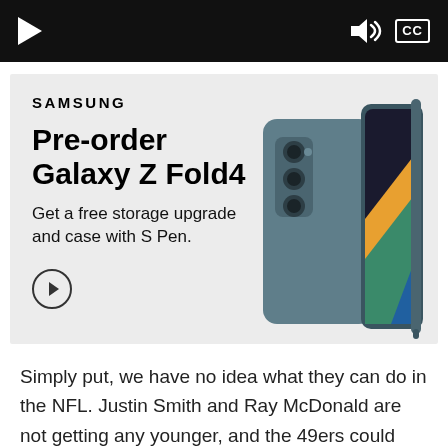[Figure (screenshot): Video player control bar with play button, volume icon, and CC (closed captions) button on black background]
[Figure (infographic): Samsung advertisement for Galaxy Z Fold4 pre-order. Text: SAMSUNG, Pre-order Galaxy Z Fold4, Get a free storage upgrade and case with S Pen. Arrow circle button. Image of Samsung Galaxy Z Fold4 in teal/blue with S Pen.]
Simply put, we have no idea what they can do in the NFL. Justin Smith and Ray McDonald are not getting any younger, and the 49ers could use more than just